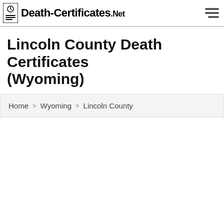Death-Certificates.Net
Lincoln County Death Certificates (Wyoming)
Home > Wyoming > Lincoln County